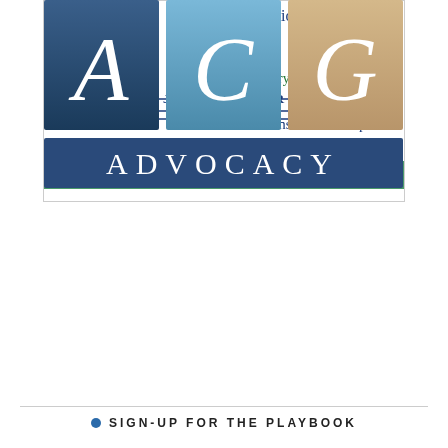[Figure (logo): Bellevue Communications Group advertisement with large C and G letters, text 'Got a crisis? Need a story told?', Jeff Jubelirer name, phone (215) 893-4279, email jjubelirer@bellevuepr.com, and website www.BellevuePR.com on green bar]
[Figure (logo): ACG Advocacy logo with three colored squares (dark blue A, light blue C, tan/gold G) and dark blue bar with ADVOCACY text]
SIGN-UP FOR THE PLAYBOOK